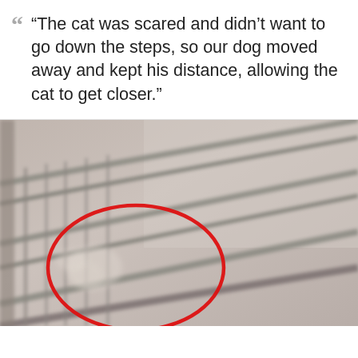“The cat was scared and didn’t want to go down the steps, so our dog moved away and kept his distance, allowing the cat to get closer.”
[Figure (photo): Blurry photo of an indoor staircase railing area. A red oval/ellipse is drawn highlighting the lower left area of the image where what appears to be a cat can be seen on the stairs behind the railing.]